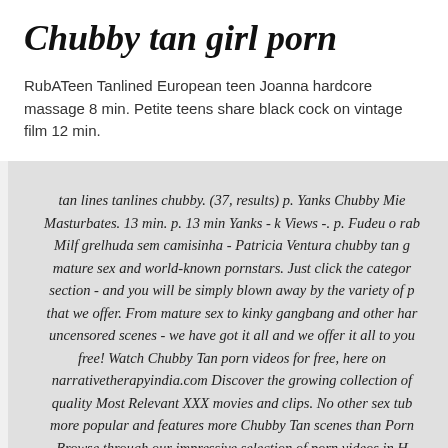Chubby tan girl porn
RubATeen Tanlined European teen Joanna hardcore massage 8 min. Petite teens share black cock on vintage film 12 min.
tan lines tanlines chubby. (37, results) p. Yanks Chubby Mie Masturbates. 13 min. p. 13 min Yanks - k Views -. p. Fudeu o rab Milf grelhuda sem camisinha - Patricia Ventura chubby tan g mature sex and world-known pornstars. Just click the categor section - and you will be simply blown away by the variety of p that we offer. From mature sex to kinky gangbang and other har uncensored scenes - we have got it all and we offer it all to you free! Watch Chubby Tan porn videos for free, here on narrativetherapyindia.com Discover the growing collection of quality Most Relevant XXX movies and clips. No other sex tub more popular and features more Chubby Tan scenes than Porn Browse through our impressive selection of porn videos in H quality on any device you own